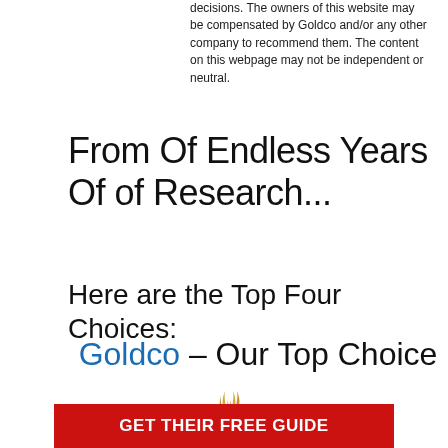decisions. The owners of this website may be compensated by Goldco and/or any other company to recommend them. The content on this webpage may not be independent or neutral.
From Of Endless Years Of of Research...
Here are the Top Four Choices:
Goldco – Our Top Choice
[Figure (logo): Goldco logo with golden flame/curl graphic above the word GOLDCO in large serif capitals with a registered trademark symbol]
[Figure (other): Red button with white bold text: GET THEIR FREE GUIDE]